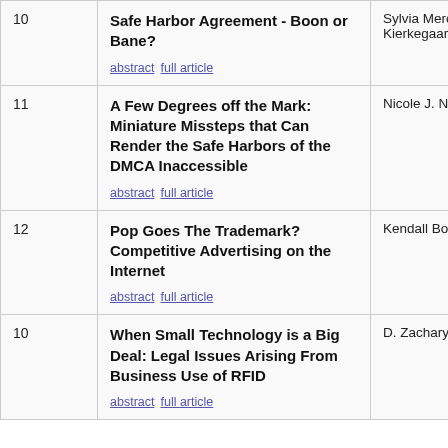| # | Article | Author |
| --- | --- | --- |
| 10 | Safe Harbor Agreement - Boon or Bane?
abstract  full article | Sylvia Mercado Kierkegaard |
| 11 | A Few Degrees off the Mark: Miniature Missteps that Can Render the Safe Harbors of the DMCA Inaccessible
abstract  full article | Nicole J. Nyman |
| 12 | Pop Goes The Trademark? Competitive Advertising on the Internet
abstract  full article | Kendall Bodden |
| 10 | When Small Technology is a Big Deal: Legal Issues Arising From Business Use of RFID
abstract  full article | D. Zachary Hostetter |